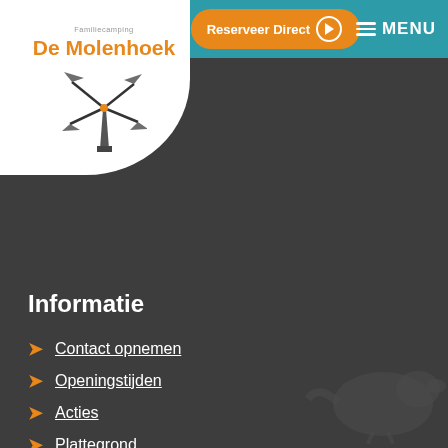De Molenhoek – Familiecamping
[Figure (logo): De Molenhoek familiecamping logo with windmill illustration]
[Figure (other): Reserveer Direct button (orange pill-shaped button with arrow) and MENU hamburger icon in teal header bar]
Informatie
Contact opnemen
Openingstijden
Acties
Plattegrond
Sfeerimpressie